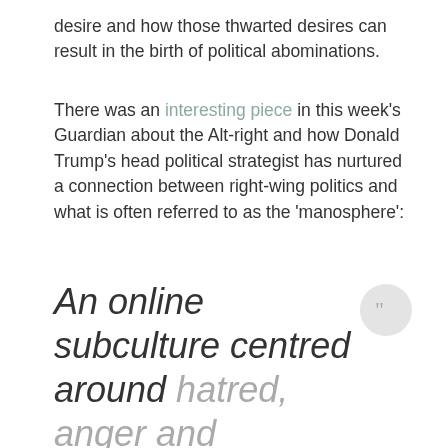desire and how those thwarted desires can result in the birth of political abominations.
There was an interesting piece in this week’s Guardian about the Alt-right and how Donald Trump’s head political strategist has nurtured a connection between right-wing politics and what is often referred to as the ‘manosphere’:
An online subculture centred around hatred, anger and resentment of feminism specifically, and women